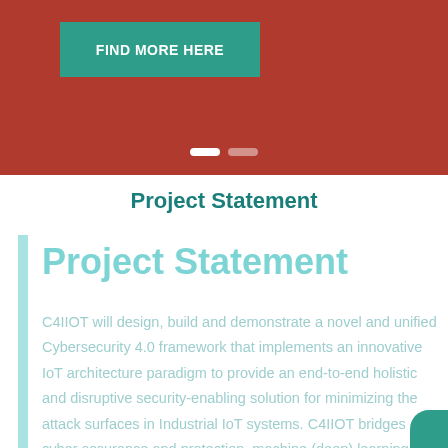[Figure (screenshot): Red/terracotta banner with a teal 'FIND MORE HERE' button and two slider indicator dots]
Project Statement
Project Statement
C4IIOT will design, build and demonstrate a novel and unified Cybersecurity 4.0 framework that implements an innovative IoT architecture paradigm to provide an end-to-end holistic and disruptive security-enabling solution for minimizing the attack surfaces in Industrial IoT systems. C4IIOT bridges cyber assurance and protection, machine (deep) learning (ML/DL), edge/cloud computing, blockchain and Big Data technologies to provide a viable scheme for enabling…